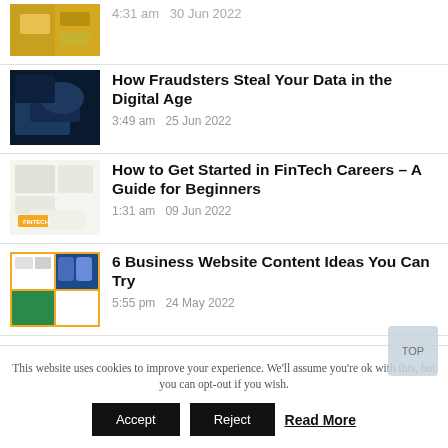[Partial article title] 4:31 am  30 Jun 2022
How Fraudsters Steal Your Data in the Digital Age  3:49 am  25 Jun 2022
How to Get Started in FinTech Careers – A Guide for Beginners  1:31 am  09 Jun 2022
6 Business Website Content Ideas You Can Try  5:55 pm  24 May 2022
This website uses cookies to improve your experience. We'll assume you're ok with this, but you can opt-out if you wish.
Accept  Reject  Read More